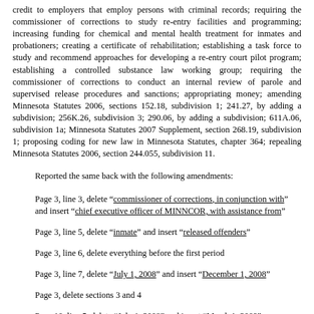credit to employers that employ persons with criminal records; requiring the commissioner of corrections to study re-entry facilities and programming; increasing funding for chemical and mental health treatment for inmates and probationers; creating a certificate of rehabilitation; establishing a task force to study and recommend approaches for developing a re-entry court pilot program; establishing a controlled substance law working group; requiring the commissioner of corrections to conduct an internal review of parole and supervised release procedures and sanctions; appropriating money; amending Minnesota Statutes 2006, sections 152.18, subdivision 1; 241.27, by adding a subdivision; 256K.26, subdivision 3; 290.06, by adding a subdivision; 611A.06, subdivision 1a; Minnesota Statutes 2007 Supplement, section 268.19, subdivision 1; proposing coding for new law in Minnesota Statutes, chapter 364; repealing Minnesota Statutes 2006, section 244.055, subdivision 11.
Reported the same back with the following amendments:
Page 3, line 3, delete "commissioner of corrections, in conjunction with" and insert "chief executive officer of MINNCOR, with assistance from"
Page 3, line 5, delete "inmate" and insert "released offenders"
Page 3, line 6, delete everything before the first period
Page 3, line 7, delete "July 1, 2008" and insert "December 1, 2008"
Page 3, delete sections 3 and 4
Page 10, line 5, delete "July 1, 2008" and insert "March 1, 2009"